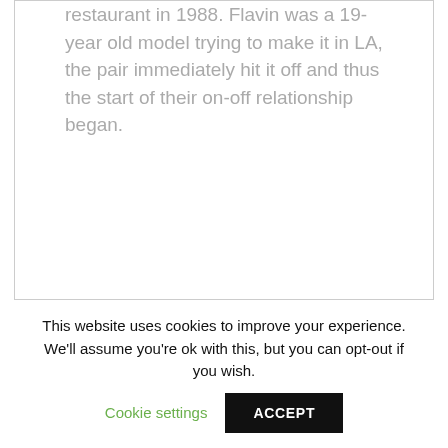restaurant in 1988. Flavin was a 19-year old model trying to make it in LA, the pair immediately hit it off and thus the start of their on-off relationship began.
This website uses cookies to improve your experience. We'll assume you're ok with this, but you can opt-out if you wish. Cookie settings ACCEPT